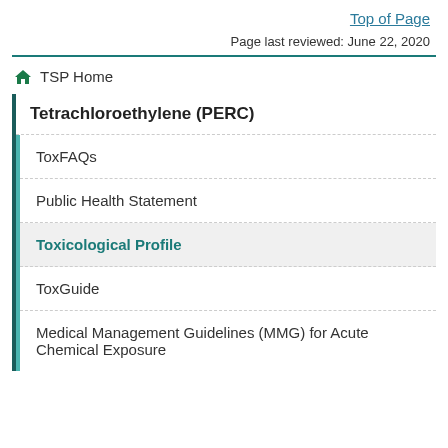Top of Page
Page last reviewed: June 22, 2020
TSP Home
Tetrachloroethylene (PERC)
ToxFAQs
Public Health Statement
Toxicological Profile
ToxGuide
Medical Management Guidelines (MMG) for Acute Chemical Exposure